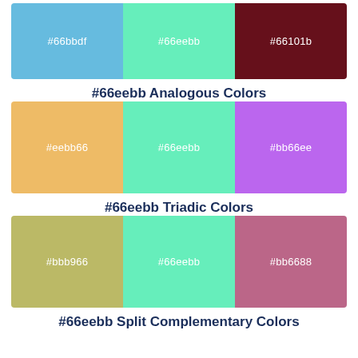[Figure (infographic): Three color swatches side by side: #66bbdf (light blue), #66eebb (mint green), #66101b (dark red)]
#66eebb Analogous Colors
[Figure (infographic): Three color swatches side by side: #eebb66 (golden yellow), #66eebb (mint green), #bb66ee (purple)]
#66eebb Triadic Colors
[Figure (infographic): Three color swatches side by side: #bbb966 (olive green), #66eebb (mint green), #bb6688 (pink/mauve)]
#66eebb Split Complementary Colors